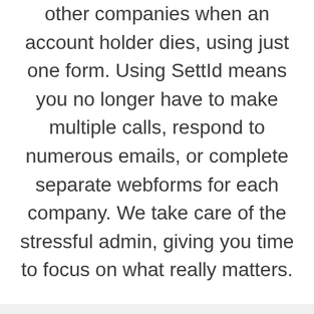other companies when an account holder dies, using just one form. Using SettId means you no longer have to make multiple calls, respond to numerous emails, or complete separate webforms for each company. We take care of the stressful admin, giving you time to focus on what really matters.
How to contact